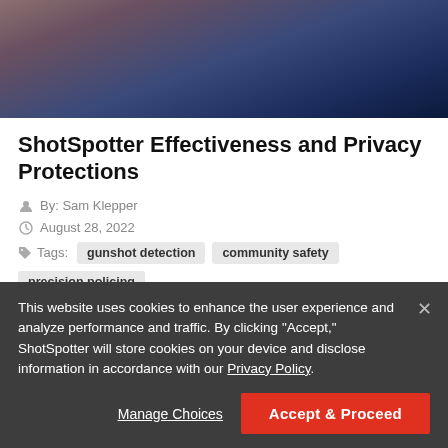[Figure (photo): Close-up photo of a hand on a keyboard with blue lighting in the background]
ShotSpotter Effectiveness and Privacy Protections
By: Sam Klepper
August 28, 2022
Tags: gunshot detection  community safety  precision policing
This website uses cookies to enhance the user experience and analyze performance and traffic. By clicking "Accept," ShotSpotter will store cookies on your device and disclose information in accordance with our Privacy Policy.